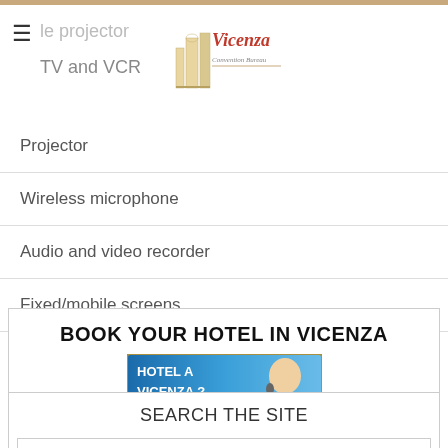slide projector
TV and VCR
[Figure (logo): Vicenza Convention Bureau logo with illustration of building and stylized text]
Projector
Wireless microphone
Audio and video recorder
Fixed/mobile screens
BOOK YOUR HOTEL IN VICENZA
[Figure (photo): Hotel a Vicenza? banner with blue gradient background and smiling blonde woman]
SEARCH THE SITE